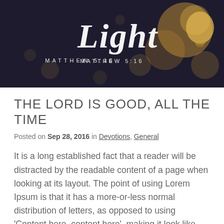[Figure (photo): Dark bokeh background with glowing light bulb on right side. Script text 'Light' in white and small caps text 'MATTHEW 5:16' below it.]
THE LORD IS GOOD, ALL THE TIME
Posted on Sep 28, 2016 in Devotions, General
It is a long established fact that a reader will be distracted by the readable content of a page when looking at its layout. The point of using Lorem Ipsum is that it has a more-or-less normal distribution of letters, as opposed to using 'Content here, content here', making it look like readable English. Many desktop publishing packages and web page editors now use Lorem Ipsum as their default model text, and a